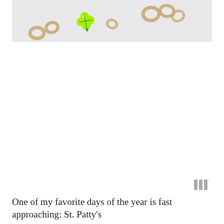[Figure (photo): A top-down photo on a light gray-white background showing Lucky Charms cereal pieces: several tan/beige oat rings and one bright yellow-green marshmallow clover/shamrock piece, scattered in a loose diagonal line from bottom-left to upper-right.]
[Figure (logo): Three vertical gray bars of equal height with a small superscript circle or degree symbol, resembling a stylized 'W' logo or wordmark icon.]
One of my favorite days of the year is fast approaching: St. Patty's